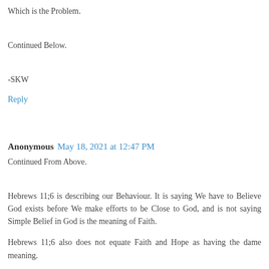Which is the Problem.
Continued Below.
-SKW
Reply
Anonymous  May 18, 2021 at 12:47 PM
Continued From Above.
Hebrews 11;6 is describing our Behaviour. It is saying We have to Believe God exists before We make efforts to be Close to God, and is not saying Simple Belief in God is the meaning of Faith.
Hebrews 11;6 also does not equate Faith and Hope as having the dame meaning.
There is simply no Reason to conclude Hebrews 11;6 is saying Belief in God and His Goodness is the Hope in